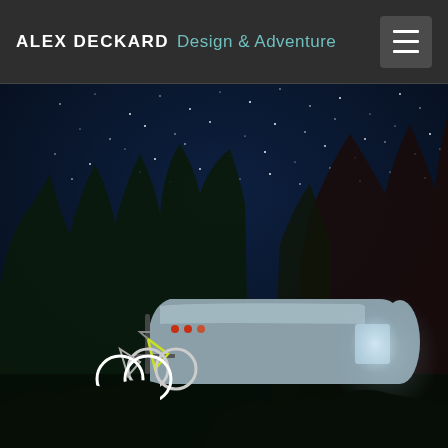ALEX DECKARD Design & Adventure
[Figure (photo): Night-sky photograph taken outdoors showing a starry dark blue sky with tall pine and deciduous trees silhouetted in the background. In the foreground is a silver/metallic Airstream-style travel trailer with red tail lights visible, and a bicycle rack attached to the rear holding two bicycles (one with neon yellow/green accents). The scene is lit artificially, likely by an off-camera flash or lantern inside the camper, creating a dramatic contrast against the night sky.]